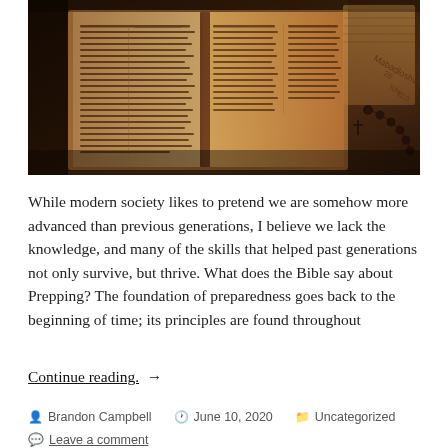[Figure (photo): An open Bible with dense text, photographed from above in sepia/warm tones, with a rosary and other objects visible to the right side.]
While modern society likes to pretend we are somehow more advanced than previous generations, I believe we lack the knowledge, and many of the skills that helped past generations not only survive, but thrive. What does the Bible say about Prepping? The foundation of preparedness goes back to the beginning of time; its principles are found throughout
Continue reading. →
Brandon Campbell   June 10, 2020   Uncategorized   Leave a comment